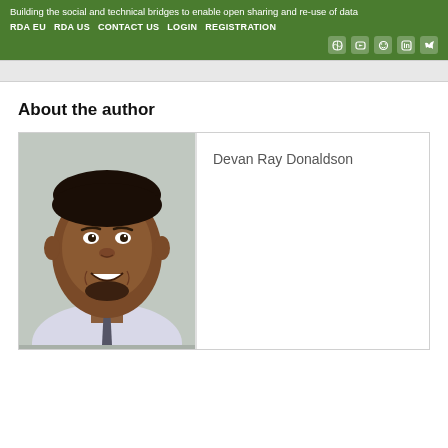Building the social and technical bridges to enable open sharing and re-use of data
RDA EU  RDA US  CONTACT US  LOGIN  REGISTRATION
About the author
[Figure (photo): Headshot photo of Devan Ray Donaldson, a man smiling, wearing a light colored shirt and dark tie, with a light gray background.]
Devan Ray Donaldson